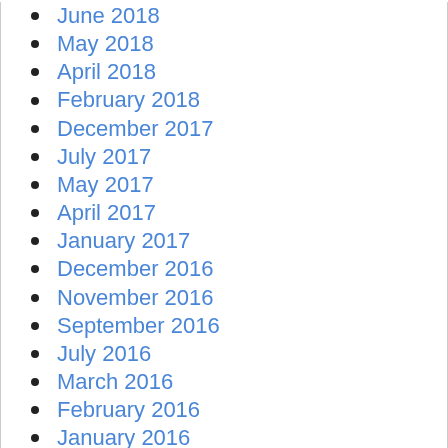June 2018
May 2018
April 2018
February 2018
December 2017
July 2017
May 2017
April 2017
January 2017
December 2016
November 2016
September 2016
July 2016
March 2016
February 2016
January 2016
December 2015
November 2015
October 2015